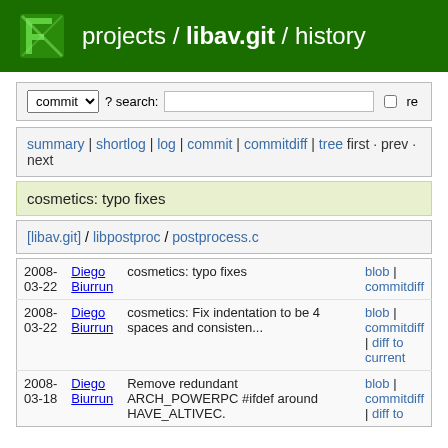projects / libav.git / history
commit ? search: re
summary | shortlog | log | commit | commitdiff | tree first · prev · next
cosmetics: typo fixes
[libav.git] / libpostproc / postprocess.c
| Date | Author | Message | Links |
| --- | --- | --- | --- |
| 2008-03-22 | Diego Biurrun | cosmetics: typo fixes | blob | commitdiff |
| 2008-03-22 | Diego Biurrun | cosmetics: Fix indentation to be 4 spaces and consisten... | blob | commitdiff | diff to current |
| 2008-03-18 | Diego Biurrun | Remove redundant ARCH_POWERPC #ifdef around HAVE_ALTIVEC. | blob | commitdiff | diff to |